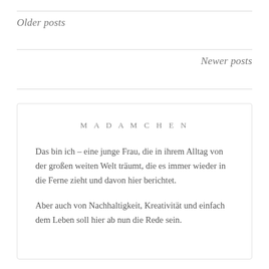Older posts
Newer posts
MADAMCHEN
Das bin ich – eine junge Frau, die in ihrem Alltag von der großen weiten Welt träumt, die es immer wieder in die Ferne zieht und davon hier berichtet.
Aber auch von Nachhaltigkeit, Kreativität und einfach dem Leben soll hier ab nun die Rede sein.